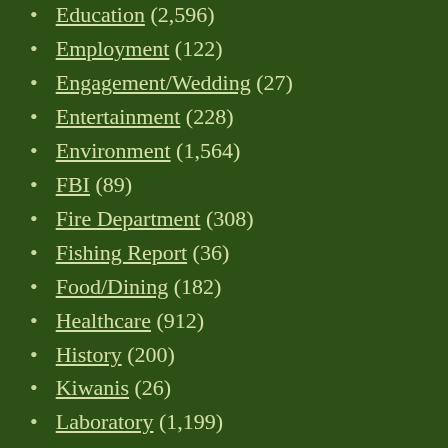Education (2,596)
Employment (122)
Engagement/Wedding (27)
Entertainment (228)
Environment (1,564)
FBI (89)
Fire Department (308)
Fishing Report (36)
Food/Dining (182)
Healthcare (912)
History (200)
Kiwanis (26)
Laboratory (1,199)
League of Women Voters (78)
Legislature (544)
Letter to the Editor (365)
Los Alamos County (2,863)